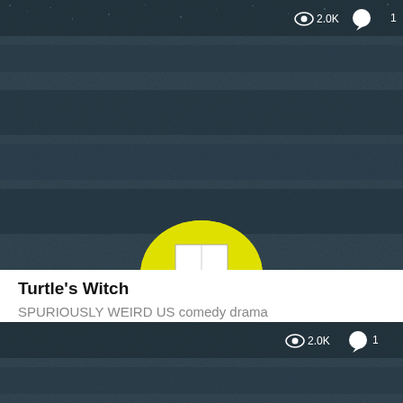[Figure (screenshot): Thumbnail image with dark noisy/static texture background and a yellow cartoon character head peeking from the bottom center. White overlay icons showing eye icon '2.0K' and speech bubble '1' in top-right corner.]
Turtle's Witch
SPURIOUSLY WEIRD US comedy drama
[Figure (screenshot): Second thumbnail image identical in style — dark noisy/static texture background with a yellow cartoon character head peeking from the bottom center. White overlay icons showing eye icon '2.0K' and speech bubble '1' in top-right corner.]